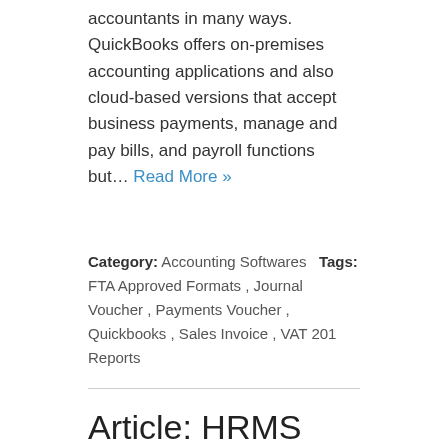accountants in many ways. QuickBooks offers on-premises accounting applications and also cloud-based versions that accept business payments, manage and pay bills, and payroll functions but… Read More »
Category: Accounting Softwares  Tags: FTA Approved Formats , Journal Voucher , Payments Voucher , Quickbooks , Sales Invoice , VAT 201 Reports
Article: HRMS and Payroll Software in a Nutshell
In several organizations, 80% of the HR department's time is spent dealing with employee information and answering questions. The HR manager faces a dilemma on whether to